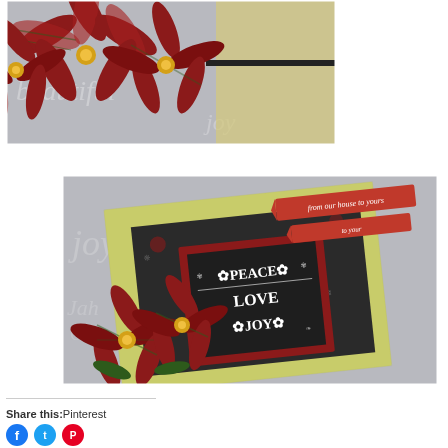[Figure (photo): Close-up of red and green plaid tartan poinsettia paper flowers with gold centers arranged on a grey and cream layered card background with handwritten script patterns.]
[Figure (photo): Diagonal view of a Christmas card with layered grey, cream/yellow-green, and dark chalkboard panels. A red-framed chalkboard square in the center reads PEACE LOVE JOY with decorative flourishes. A red ribbon banner reads 'from our house to yours'. Red plaid tartan poinsettia flowers decorate the bottom left corner.]
Share this:Pinterest